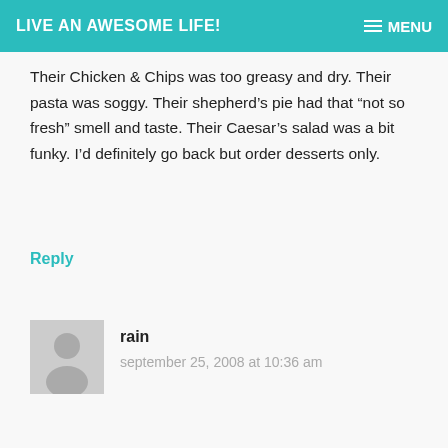LIVE AN AWESOME LIFE! MENU
Their Chicken & Chips was too greasy and dry. Their pasta was soggy. Their shepherd's pie had that “not so fresh” smell and taste. Their Caesar’s salad was a bit funky. I’d definitely go back but order desserts only.
Reply
rain
september 25, 2008 at 10:36 am
is this the same mom and tina’s that had a